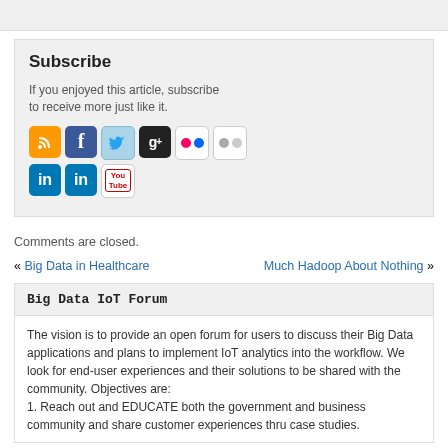Subscribe
If you enjoyed this article, subscribe to receive more just like it.
[Figure (other): Social media icons: RSS, Facebook, Twitter, Google+, Flickr (x2), LinkedIn (x2), YouTube]
Comments are closed.
« Big Data in Healthcare    Much Hadoop About Nothing »
Big Data IoT Forum
The vision is to provide an open forum for users to discuss their Big Data applications and plans to implement IoT analytics into the workflow. We look for end-user experiences and their solutions to be shared with the community. Objectives are:
1. Reach out and EDUCATE both the government and business community and share customer experiences thru case studies.